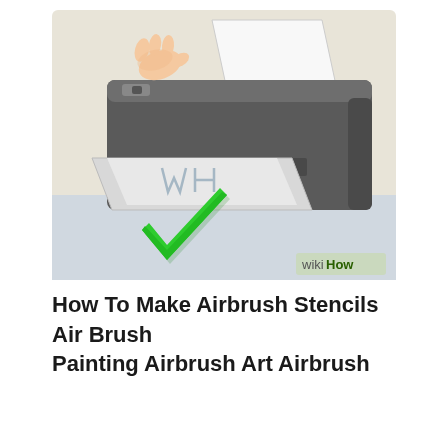[Figure (illustration): WikiHow illustration showing a printer with a sheet of paper being printed with 'WH' letters outline (stencil), a hand pressing a button on top of the printer, and a large green checkmark in the foreground. A 'wikiHow' watermark/logo appears in the bottom-right corner of the illustration.]
How To Make Airbrush Stencils Air Brush Painting Airbrush Art Airbrush